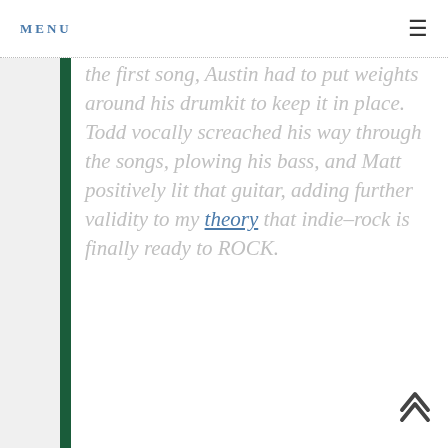MENU
the first song, Austin had to put weights around his drumkit to keep it in place. Todd vocally screached his way through the songs, plowing his bass, and Matt positively lit that guitar, adding further validity to my theory that indie-rock is finally ready to ROCK.